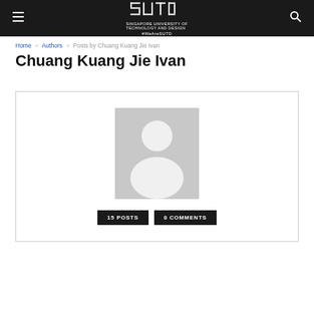SUTD — Singapore University of Technology and Design #WeAreSUTD
Home » Authors » Posts by Chuang Kuang Jie Ivan
Chuang Kuang Jie Ivan
[Figure (other): Author profile card with a generic grey silhouette avatar, showing 15 POSTS and 0 COMMENTS badges]